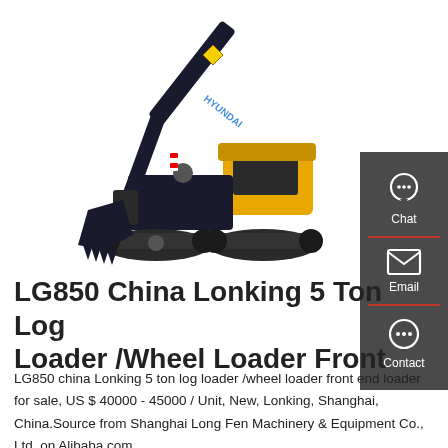[Figure (photo): Hyundai excavator/construction equipment with boom arm and bucket on tracks, black and yellow coloring, white background]
LG850 China Lonking 5 Ton Log Loader /Wheel Loader Front
LG850 china Lonking 5 ton log loader /wheel loader front end loader for sale, US $ 40000 - 45000 / Unit, New, Lonking, Shanghai, China.Source from Shanghai Long Fen Machinery & Equipment Co., Ltd. on Alibaba.com.